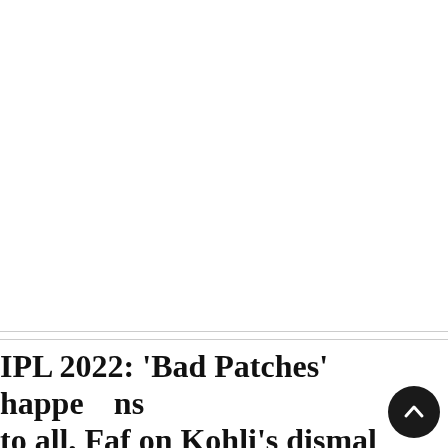NEWS HOME » SPORTS
IPL 2022: 'Bad Patches' happens to all, Faf on Kohli's dismal form